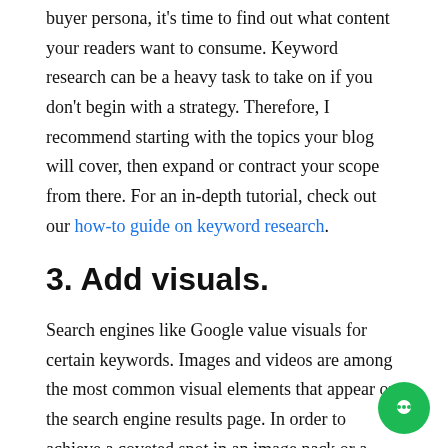buyer persona, it's time to find out what content your readers want to consume. Keyword research can be a heavy task to take on if you don't begin with a strategy. Therefore, I recommend starting with the topics your blog will cover, then expand or contract your scope from there. For an in-depth tutorial, check out our how-to guide on keyword research.
3. Add visuals.
Search engines like Google value visuals for certain keywords. Images and videos are among the most common visual elements that appear on the search engine results page. In order to achieve a coveted spot in an image pack or a video snippet, you'll want to design creative graphics, use original photos and videos, and add descriptive alt text to every visual element within your blog post.
Alt text is a major factor that determines whether or not your image or video appears in the SERP and how highly it appears. Alt tex…